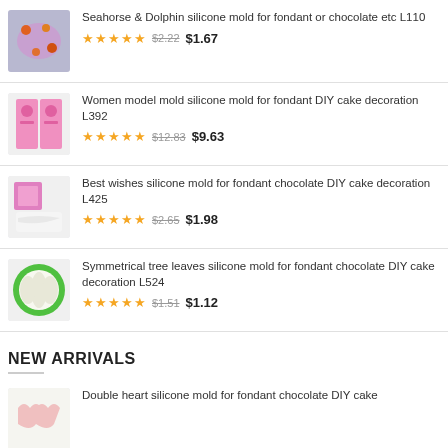Seahorse & Dolphin silicone mold for fondant or chocolate etc L110 ★★★★★ $2.22 $1.67
Women model mold silicone mold for fondant DIY cake decoration L392 ★★★★★ $12.83 $9.63
Best wishes silicone mold for fondant chocolate DIY cake decoration L425 ★★★★★ $2.65 $1.98
Symmetrical tree leaves silicone mold for fondant chocolate DIY cake decoration L524 ★★★★★ $1.51 $1.12
NEW ARRIVALS
Double heart silicone mold for fondant chocolate DIY cake